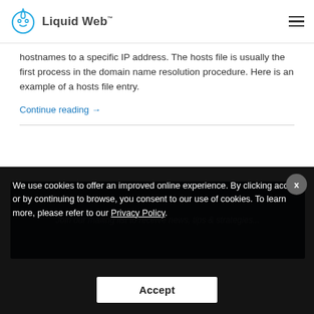Liquid Web™
hostnames to a specific IP address. The hosts file is usually the first process in the domain name resolution procedure. Here is an example of a hosts file entry.
Continue reading →
[Figure (screenshot): Newsletter signup box with dark blue background, partially visible]
We use cookies to offer an improved online experience. By clicking accept or by continuing to browse, you consent to our use of cookies. To learn more, please refer to our Privacy Policy.
Accept